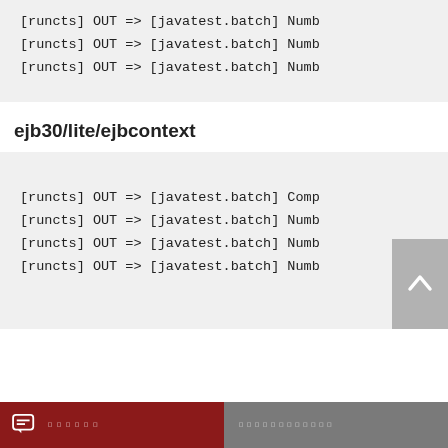[runcts] OUT => [javatest.batch] Numb
[runcts] OUT => [javatest.batch] Numb
[runcts] OUT => [javatest.batch] Numb
ejb30/lite/ejbcontext
[runcts] OUT => [javatest.batch] Comp
[runcts] OUT => [javatest.batch] Numb
[runcts] OUT => [javatest.batch] Numb
[runcts] OUT => [javatest.batch] Numb
[chat icon] NNNNNN   NNNNNNNNNNNN